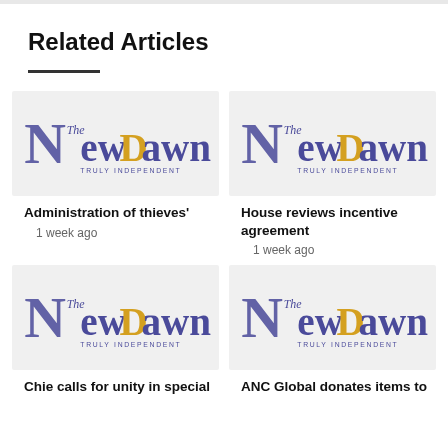Related Articles
[Figure (logo): The New Dawn - Truly Independent newspaper logo placeholder image]
Administration of thieves'
1 week ago
[Figure (logo): The New Dawn - Truly Independent newspaper logo placeholder image]
House reviews incentive agreement
1 week ago
[Figure (logo): The New Dawn - Truly Independent newspaper logo placeholder image]
Chie calls for unity in special
[Figure (logo): The New Dawn - Truly Independent newspaper logo placeholder image]
ANC Global donates items to